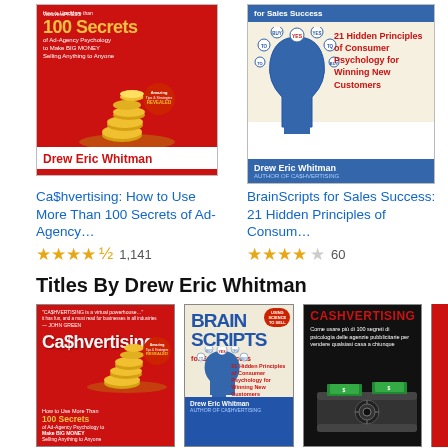[Figure (photo): Book cover of Ca$hvertising by Drew Eric Whitman - red background with gold coins and text '100 Secrets of Ad-Agency Psychology to Make BIG MONEY Selling Anything to Anyone' with 'Amazing Tips & Strategies REVEALED' badge]
[Figure (photo): Book cover of BrainScripts for Sales Success by Drew Eric Whitman - blue background showing a human head profile with thought bubbles containing YES/BUY words, '21 Hidden Principles of Consumer Psychology for Winning New Customers']
Ca$hvertising: How to Use More Than 100 Secrets of Ad-Agency…
★★★★½ 1,141
BrainScripts for Sales Success: 21 Hidden Principles of Consum…
★★★★☆ 60
Titles By Drew Eric Whitman
[Figure (photo): Book cover of Ca$hvertising - red background with gold coins]
[Figure (photo): Book cover of Brain Scripts for Sales Success - blue background]
[Figure (photo): Book cover of Cashvertising Italian edition - black background with cash/money safe illustration]
[Figure (photo): Partial book cover - red background, partially cut off]